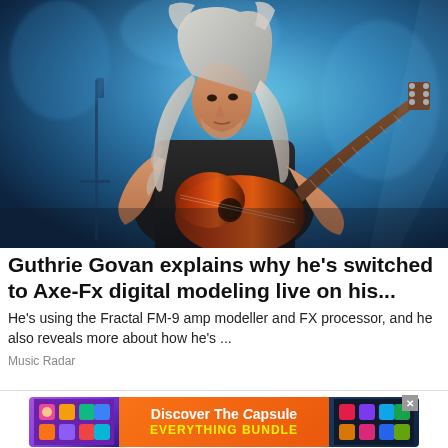[Figure (photo): A guitarist with long white curly hair wearing a black t-shirt playing a sunburst electric guitar on stage against a blue-lit background]
Guthrie Govan explains why he's switched to Axe-Fx digital modeling live on his...
He's using the Fractal FM-9 amp modeller and FX processor, and he also reveals more about how he's ...
Music Radar
[Figure (infographic): Advertisement banner: Discover The Capsule EVERYTHING BUNDLE with colorful product images on left and right, orange gradient center]